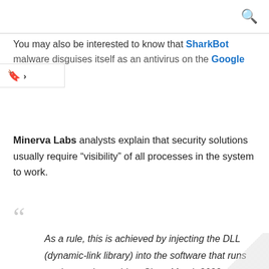You may also be interested to know that SharkBot malware disguises itself as an antivirus on the Google Store.
Minerva Labs analysts explain that security solutions usually require “visibility” of all processes in the system to work.
As a rule, this is achieved by injecting the DLL (dynamic-link library) into the software that runs on the user’s machine. Since March 2022, experts have observed a gradual increase in the activity of Adobe Acrobat Reader